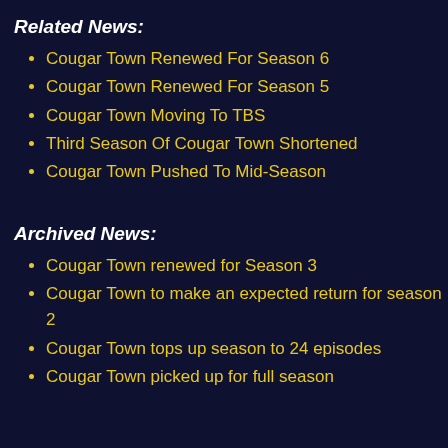Related News:
Cougar Town Renewed For Season 6
Cougar Town Renewed For Season 5
Cougar Town Moving To TBS
Third Season Of Cougar Town Shortened
Cougar Town Pushed To Mid-Season
Archived News:
Cougar Town renewed for Season 3
Cougar Town to make an expected return for season 2
Cougar Town tops up season to 24 episodes
Cougar Town picked up for full season